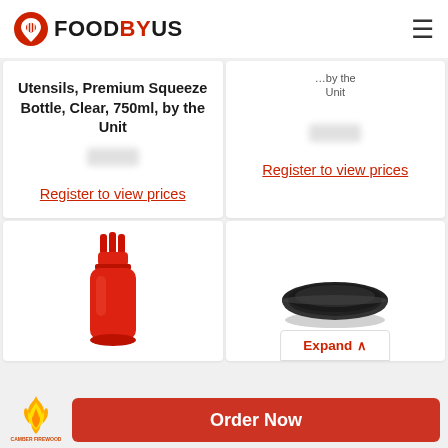FOODBYUS
Utensils, Premium Squeeze Bottle, Clear, 750ml, by the Unit
Register to view prices
Unit
Register to view prices
[Figure (photo): Red triple-tip squeeze bottle]
[Figure (photo): Black round baking pan]
Expand
[Figure (logo): Camber Firewood flame logo]
Order Now